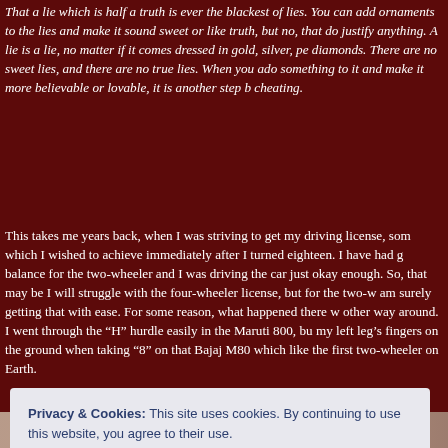That a lie which is half a truth is ever the blackest of lies. You can add ornaments to the lies and make it sound sweet or like truth, but no, that does not justify anything. A lie is a lie, no matter if it comes dressed in gold, silver, pearls, diamonds. There are no sweet lies, and there are no true lies. When you add something to it and make it more believable or lovable, it is another step to cheating.
This takes me years back, when I was striving to get my driving license, something which I wished to achieve immediately after I turned eighteen. I have had good balance for the two-wheeler and I was driving the car just okay enough. So, I thought that may be I will struggle with the four-wheeler license, but for the two-wheeler, I am surely getting that with ease. For some reason, what happened there was the other way around. I went through the "H" hurdle easily in the Maruti 800, but dragged my left leg's fingers on the ground when taking "8" on that Bajaj M80 which felt like the first two-wheeler on Earth.
Privacy & Cookies: This site uses cookies. By continuing to use this website, you agree to their use.
To find out more, including how to control cookies, see here: Cookie Policy
Close and accept